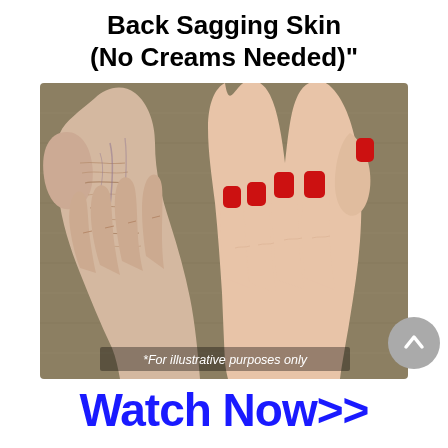Back Sagging Skin (No Creams Needed)"
[Figure (photo): Two hands placed side by side on a taupe/beige fabric surface. The left hand belongs to an elderly person with wrinkled, sagging skin showing prominent veins and deep creases. The right hand belongs to a younger person with smooth skin and red painted nails. Caption reads: *For illustrative purposes only]
*For illustrative purposes only
Watch Now>>